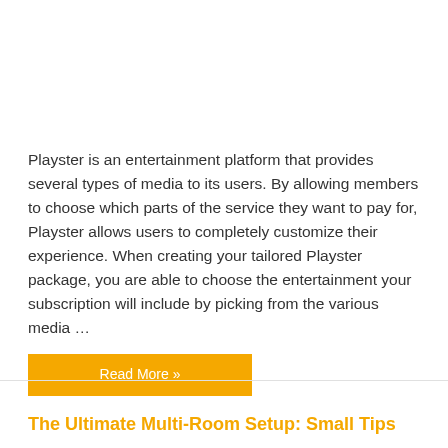Playster is an entertainment platform that provides several types of media to its users. By allowing members to choose which parts of the service they want to pay for, Playster allows users to completely customize their experience. When creating your tailored Playster package, you are able to choose the entertainment your subscription will include by picking from the various media …
Read More »
The Ultimate Multi-Room Setup: Small Tips